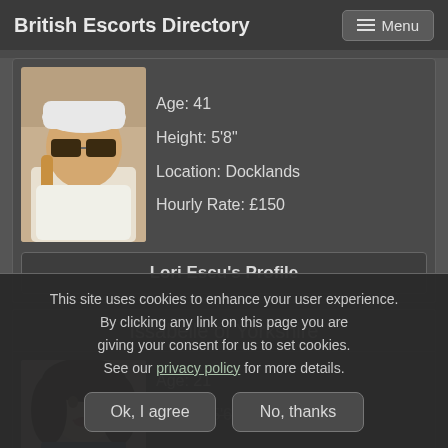British Escorts Directory
[Figure (photo): Profile photo of woman wearing white hat and sunglasses with white scarf]
Age: 41
Height: 5'8"
Location: Docklands
Hourly Rate: £150
Lori Escu's Profile
Issabelle of Yorkshire
[Figure (photo): Profile photo of young woman with dark curly hair]
Age: 21
Height: 5'6"
This site uses cookies to enhance your user experience. By clicking any link on this page you are giving your consent for us to set cookies. See our privacy policy for more details.
Ok, I agree
No, thanks